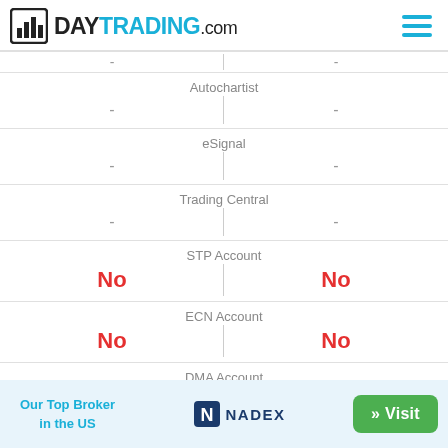DAYTRADING.com
| Broker 1 | Feature | Broker 2 |
| --- | --- | --- |
| - | Autochartist | - |
| - | eSignal | - |
| - | Trading Central | - |
| No | STP Account | No |
| No | ECN Account | No |
|  | DMA Account |  |
Our Top Broker in the US  NADEX  » Visit